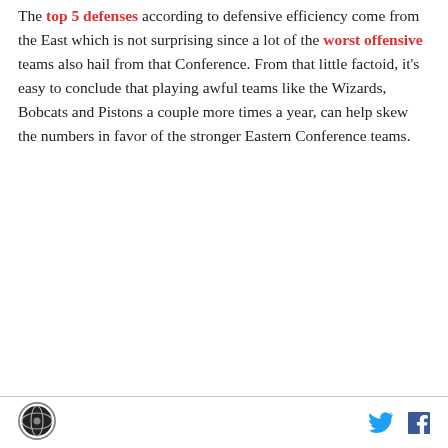The top 5 defenses according to defensive efficiency come from the East which is not surprising since a lot of the worst offensive teams also hail from that Conference. From that little factoid, it's easy to conclude that playing awful teams like the Wizards, Bobcats and Pistons a couple more times a year, can help skew the numbers in favor of the stronger Eastern Conference teams.
[logo] [twitter icon] [facebook icon]